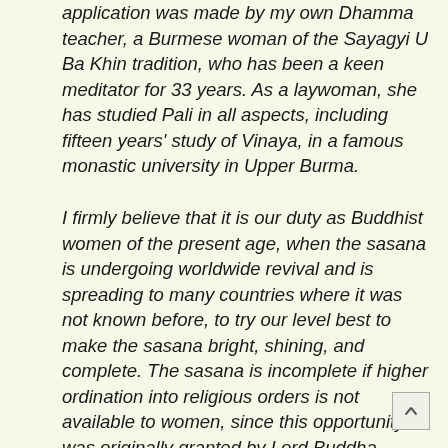application was made by my own Dhamma teacher, a Burmese woman of the Sayagyi U Ba Khin tradition, who has been a keen meditator for 33 years. As a laywoman, she has studied Pali in all aspects, including fifteen years' study of Vinaya, in a famous monastic university in Upper Burma.
I firmly believe that it is our duty as Buddhist women of the present age, when the sasana is undergoing worldwide revival and is spreading to many countries where it was not known before, to try our level best to make the sasana bright, shining, and complete. The sasana is incomplete if higher ordination into religious orders is not available to women, since this opportunity was originally granted by Lord Buddha. Buddha himself said to Mara that his teaching is well established if all the f...